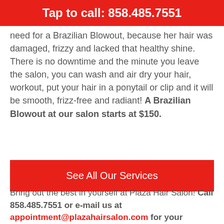Tap to call: 858.485.7551
need for a Brazilian Blowout, because her hair was damaged, frizzy and lacked that healthy shine. There is no downtime and the minute you leave the salon, you can wash and air dry your hair, workout, put your hair in a ponytail or clip and it will be smooth, frizz-free and radiant! A Brazilian Blowout at our salon starts at $150.
See All Our Services
Bring out the best in yourself at Plaza Hair Salon! Call 858.485.7551 or e-mail us at appointment@plazahairsalon.com for your appointment. Walk-ins are always welcome too!